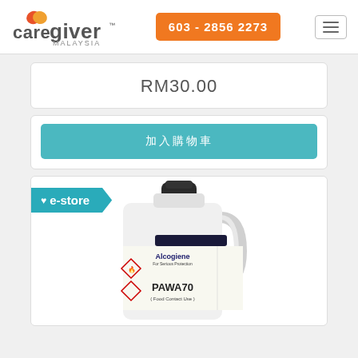[Figure (logo): Caregiver Malaysia logo with orange/red heart icon]
603 - 2856 2273
RM30.00
加入購物車
[Figure (photo): Alcogiene PAWA70 Food Contact Use 5-litre white plastic container with dark cap, showing hazard symbols and product label]
e-store